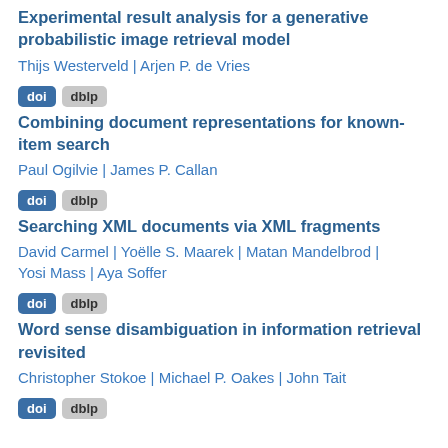Experimental result analysis for a generative probabilistic image retrieval model
Thijs Westerveld | Arjen P. de Vries
doi dblp
Combining document representations for known-item search
Paul Ogilvie | James P. Callan
doi dblp
Searching XML documents via XML fragments
David Carmel | Yoëlle S. Maarek | Matan Mandelbrod | Yosi Mass | Aya Soffer
doi dblp
Word sense disambiguation in information retrieval revisited
Christopher Stokoe | Michael P. Oakes | John Tait
doi dblp